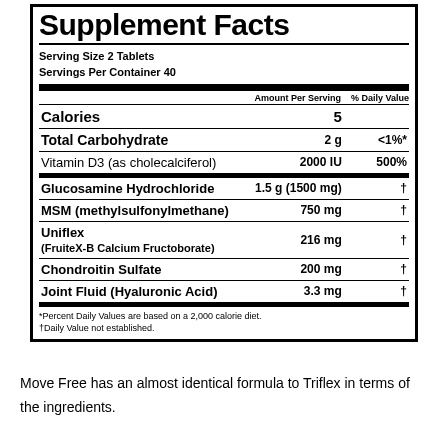Supplement Facts
|  | Amount Per Serving | % Daily Value |
| --- | --- | --- |
| Calories | 5 |  |
| Total Carbohydrate | 2 g | <1%* |
| Vitamin D3 (as cholecalciferol) | 2000 IU | 500% |
| Glucosamine Hydrochloride | 1.5 g (1500 mg) | † |
| MSM (methylsulfonylmethane) | 750 mg | † |
| Uniflex (FruiteX-B Calcium Fructoborate) | 216 mg | † |
| Chondroitin Sulfate | 200 mg | † |
| Joint Fluid (Hyaluronic Acid) | 3.3 mg | † |
*Percent Daily Values are based on a 2,000 calorie diet. †Daily Value not established.
Move Free has an almost identical formula to Triflex in terms of the ingredients.